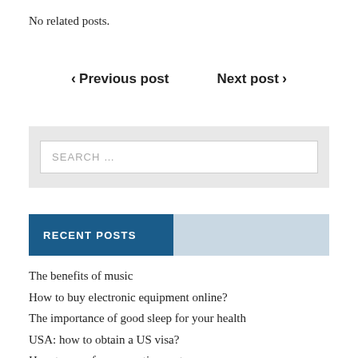No related posts.
‹ Previous post   Next post ›
[Figure (other): Search input box with placeholder text 'SEARCH ...' inside a light grey container]
RECENT POSTS
The benefits of music
How to buy electronic equipment online?
The importance of good sleep for your health
USA: how to obtain a US visa?
How to save for your retirement